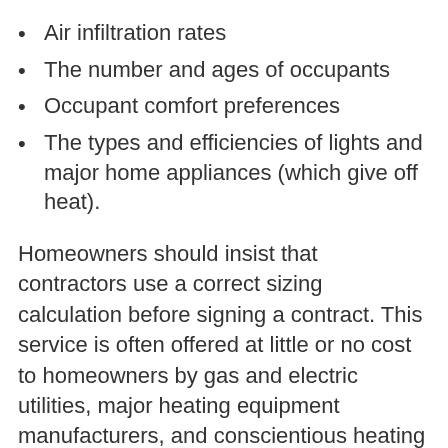Air infiltration rates
The number and ages of occupants
Occupant comfort preferences
The types and efficiencies of lights and major home appliances (which give off heat).
Homeowners should insist that contractors use a correct sizing calculation before signing a contract. This service is often offered at little or no cost to homeowners by gas and electric utilities, major heating equipment manufacturers, and conscientious heating and air